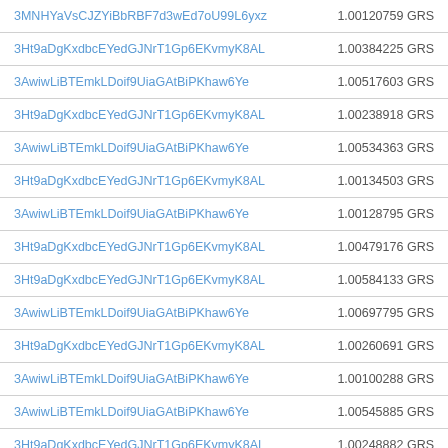| Address | Amount |
| --- | --- |
| 3MNHYaVsCJZYiBbRBF7d3wEd7oU99L6yxz | 1.00120759 GRS |
| 3Ht9aDgKxdbcEYedGJNrT1Gp6EKvmyK8AL | 1.00384225 GRS |
| 3AwiwLiBTEmkLDoif9UiaGAtBiPKhaw6Ye | 1.00517603 GRS |
| 3Ht9aDgKxdbcEYedGJNrT1Gp6EKvmyK8AL | 1.00238918 GRS |
| 3AwiwLiBTEmkLDoif9UiaGAtBiPKhaw6Ye | 1.00534363 GRS |
| 3Ht9aDgKxdbcEYedGJNrT1Gp6EKvmyK8AL | 1.00134503 GRS |
| 3AwiwLiBTEmkLDoif9UiaGAtBiPKhaw6Ye | 1.00128795 GRS |
| 3Ht9aDgKxdbcEYedGJNrT1Gp6EKvmyK8AL | 1.00479176 GRS |
| 3Ht9aDgKxdbcEYedGJNrT1Gp6EKvmyK8AL | 1.00584133 GRS |
| 3AwiwLiBTEmkLDoif9UiaGAtBiPKhaw6Ye | 1.00697795 GRS |
| 3Ht9aDgKxdbcEYedGJNrT1Gp6EKvmyK8AL | 1.00260691 GRS |
| 3AwiwLiBTEmkLDoif9UiaGAtBiPKhaw6Ye | 1.00100288 GRS |
| 3AwiwLiBTEmkLDoif9UiaGAtBiPKhaw6Ye | 1.00545885 GRS |
| 3Ht9aDgKxdbcEYedGJNrT1Gp6EKvmyK8AL | 1.00248882 GRS |
| 36dSHtbu5Vtdd2mXvvYx85CPYqQ7jzW9ps | 1.00219491 GRS |